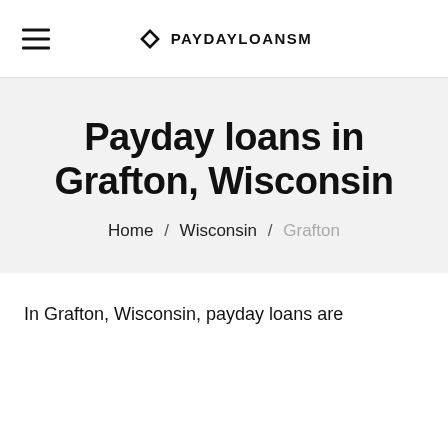PAYDAYLOANSM
Payday loans in Grafton, Wisconsin
Home / Wisconsin / Grafton
In Grafton, Wisconsin, payday loans are